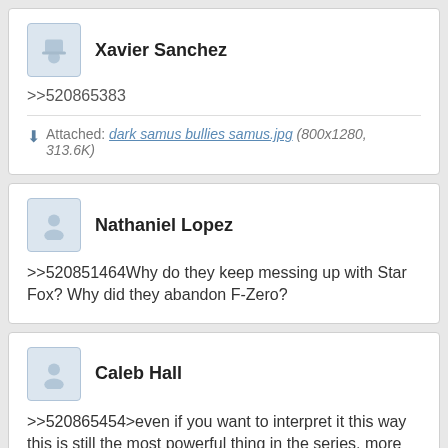Xavier Sanchez
>>520865383
Attached: dark samus bullies samus.jpg (800x1280, 313.6K)
Nathaniel Lopez
>>520851464Why do they keep messing up with Star Fox? Why did they abandon F-Zero?
Caleb Hall
>>520865454>even if you want to interpret it this way this is still the most powerful thing in the series, more powerful than an omega metroid and able to absorb x parasitesthis has been the case since the first game, there's also no x parasites left to absorb